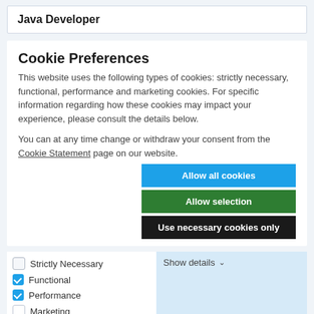Java Developer
Cookie Preferences
This website uses the following types of cookies: strictly necessary, functional, performance and marketing cookies. For specific information regarding how these cookies may impact your experience, please consult the details below.
You can at any time change or withdraw your consent from the Cookie Statement page on our website.
Allow all cookies
Allow selection
Use necessary cookies only
Strictly Necessary
Functional
Performance
Marketing
Show details ∨